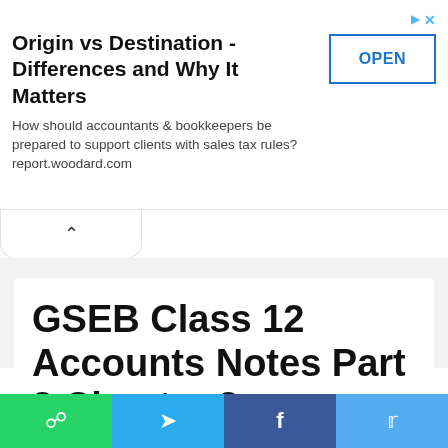[Figure (screenshot): Advertisement banner: 'Origin vs Destination - Differences and Why It Matters' with OPEN button and subtitle text about accountants and sales tax rules at report.woodard.com]
GSEB Solutions
GSEB Class 12 Accounts Notes Part 2 Chapter 2 Accounting for Debentures